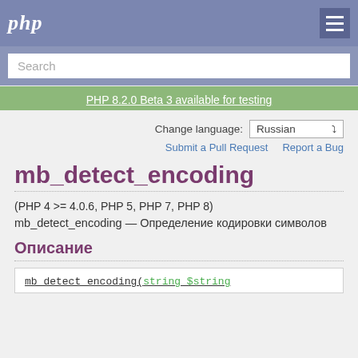php
Search
PHP 8.2.0 Beta 3 available for testing
Change language: Russian
Submit a Pull Request    Report a Bug
mb_detect_encoding
(PHP 4 >= 4.0.6, PHP 5, PHP 7, PHP 8)
mb_detect_encoding — Определение кодировки символов
Описание
mb_detect_encoding(string $string